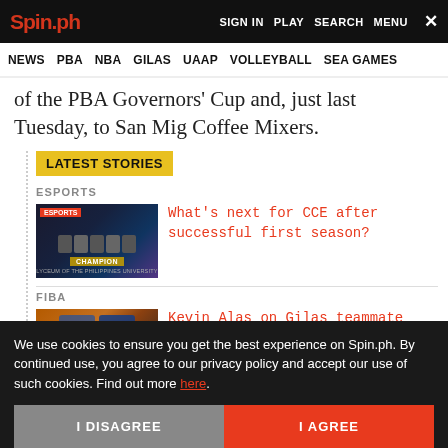Spin.ph | SIGN IN  PLAY  SEARCH  MENU  ✕
NEWS  PBA  NBA  GILAS  UAAP  VOLLEYBALL  SEA GAMES
of the PBA Governors' Cup and, just last Tuesday, to San Mig Coffee Mixers.
LATEST STORIES
ESPORTS
[Figure (photo): Esports team photo with CHAMPION banner — Lyceum of the Philippines University]
What's next for CCE after successful first season?
FIBA
[Figure (photo): Basketball players in blue uniforms — Kevin Alas and Jordan Clarkson]
Kevin Alas on Gilas teammate Jordan Clarkson: [Somewhere in...]
We use cookies to ensure you get the best experience on Spin.ph. By continued use, you agree to our privacy policy and accept our use of such cookies. Find out more here.
I DISAGREE
I AGREE